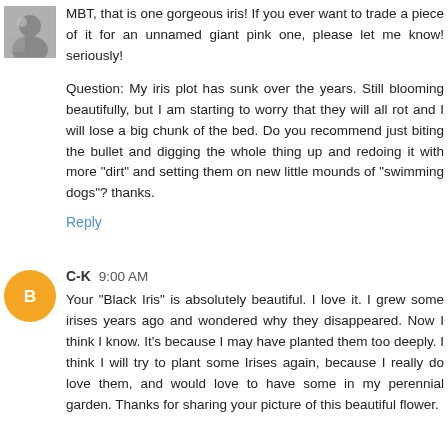[Figure (photo): Small avatar photo of a person or garden scene, grayscale/color thumbnail]
MBT, that is one gorgeous iris! If you ever want to trade a piece of it for an unnamed giant pink one, please let me know! seriously!
Question: My iris plot has sunk over the years. Still blooming beautifully, but I am starting to worry that they will all rot and I will lose a big chunk of the bed. Do you recommend just biting the bullet and digging the whole thing up and redoing it with more "dirt" and setting them on new little mounds of "swimming dogs"? thanks.
Reply
[Figure (logo): Orange circle avatar with white Blogger 'B' icon]
C-K  9:00 AM
Your "Black Iris" is absolutely beautiful. I love it. I grew some irises years ago and wondered why they disappeared. Now I think I know. It's because I may have planted them too deeply. I think I will try to plant some Irises again, because I really do love them, and would love to have some in my perennial garden. Thanks for sharing your picture of this beautiful flower.